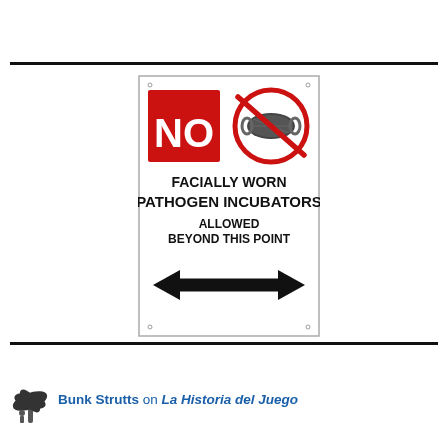[Figure (illustration): A sign with red NO box and crossed-out face mask symbol. Text reads: FACIALLY WORN PATHOGEN INCUBATORS ALLOWED BEYOND THIS POINT with a double-headed arrow.]
Bunk Strutts on La Historia del Juego